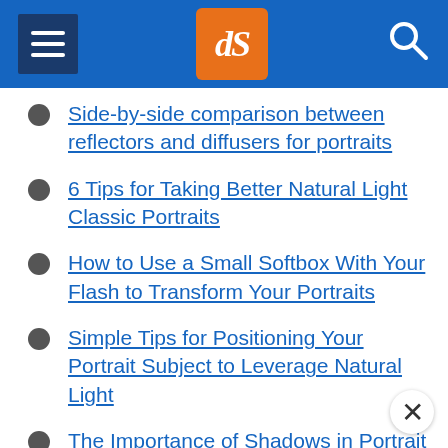dPS
Side-by-side comparison between reflectors and diffusers for portraits
6 Tips for Taking Better Natural Light Classic Portraits
How to Use a Small Softbox With Your Flash to Transform Your Portraits
Simple Tips for Positioning Your Portrait Subject to Leverage Natural Light
The Importance of Shadows in Portrait Photography
So You Have No Model? Here are Ways to